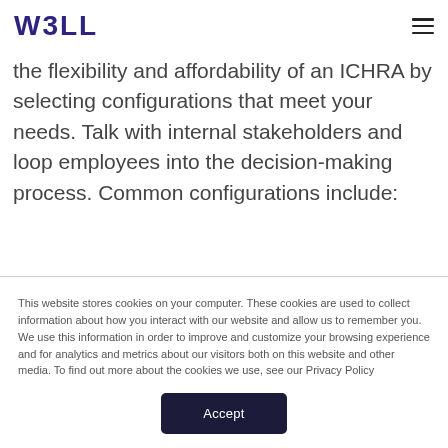W3LL [logo] [hamburger menu]
the flexibility and affordability of an ICHRA by selecting configurations that meet your needs. Talk with internal stakeholders and loop employees into the decision-making process. Common configurations include:
This website stores cookies on your computer. These cookies are used to collect information about how you interact with our website and allow us to remember you. We use this information in order to improve and customize your browsing experience and for analytics and metrics about our visitors both on this website and other media. To find out more about the cookies we use, see our Privacy Policy
Accept